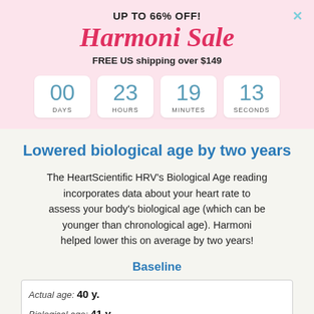UP TO 66% OFF!
Harmoni Sale
FREE US shipping over $149
[Figure (infographic): Countdown timer showing 00 DAYS, 23 HOURS, 19 MINUTES, 13 SECONDS in white rounded boxes]
Lowered biological age by two years
The HeartScientific HRV's Biological Age reading incorporates data about your heart rate to assess your body's biological age (which can be younger than chronological age). Harmoni helped lower this on average by two years!
Baseline
Actual age: 40 y.
Biological age: 41 y.